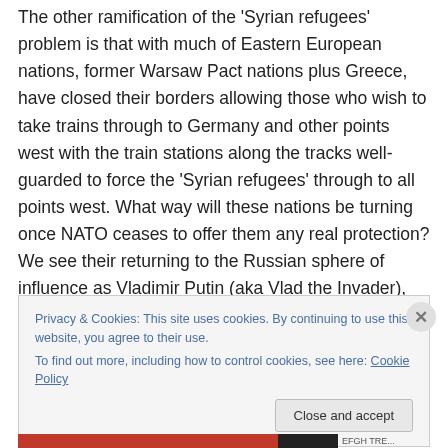The other ramification of the 'Syrian refugees' problem is that with much of Eastern European nations, former Warsaw Pact nations plus Greece, have closed their borders allowing those who wish to take trains through to Germany and other points west with the train stations along the tracks well-guarded to force the 'Syrian refugees' through to all points west. What way will these nations be turning once NATO ceases to offer them any real protection? We see their returning to the Russian sphere of influence as Vladimir Putin (aka Vlad the Invader), offering a stronger arm in protecting them from
Privacy & Cookies: This site uses cookies. By continuing to use this website, you agree to their use.
To find out more, including how to control cookies, see here: Cookie Policy